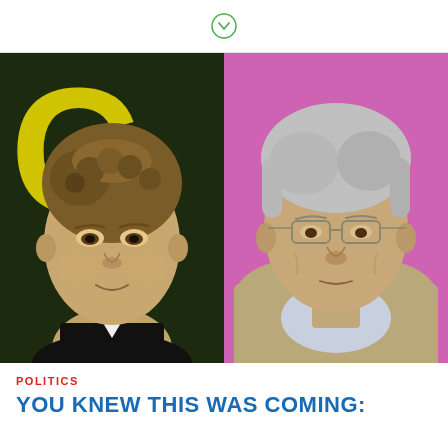[Figure (photo): Side-by-side photos of two men: left shows a younger man with curly brown hair against a dark background with yellow lettering; right shows an older man with gray hair wearing glasses against a pink/magenta background.]
POLITICS
YOU KNEW THIS WAS COMING: